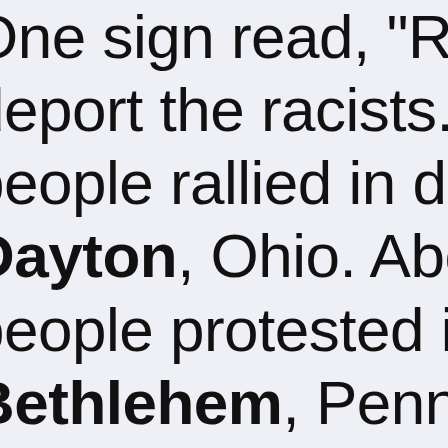One sign read, "Ro deport the racists." people rallied in do Dayton, Ohio. Abo people protested in Bethlehem, Penns About 125 people m Marshalltown, Iow